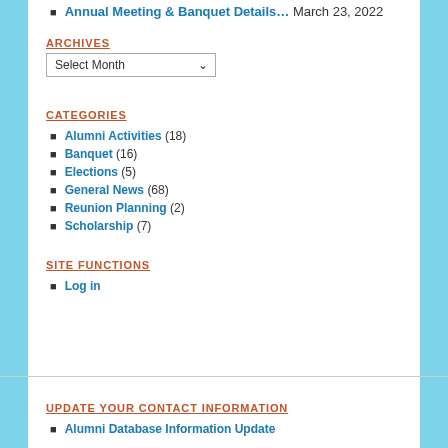Annual Meeting & Banquet Details… March 23, 2022
ARCHIVES
Select Month (dropdown)
CATEGORIES
Alumni Activities (18)
Banquet (16)
Elections (5)
General News (68)
Reunion Planning (2)
Scholarship (7)
SITE FUNCTIONS
Log in
UPDATE YOUR CONTACT INFORMATION
Alumni Database Information Update